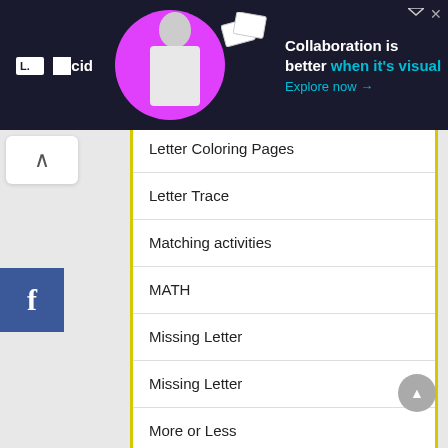[Figure (screenshot): Lucid advertisement banner with dark background, logo, person illustration, and text 'Collaboration is better when it's visual. Explore now →']
Letter Coloring Pages
Letter Trace
Matching activities
MATH
Missing Letter
Missing Letter
More or Less
Number Flashcards
Number Worksheets
Numbers